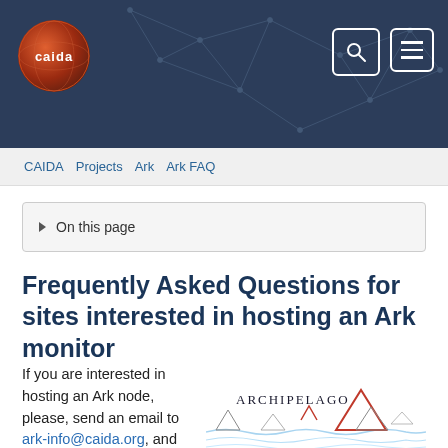[Figure (screenshot): CAIDA website header with dark blue background, network graph pattern, CAIDA globe logo on left, search and menu buttons on right]
CAIDA   Projects   Ark   Ark FAQ
▶ On this page
Frequently Asked Questions for sites interested in hosting an Ark monitor
[Figure (logo): Archipelago logo with mountains/islands illustration and stylized text ARCHIPELAGO]
If you are interested in hosting an Ark node, please, send an email to ark-info@caida.org, and include answers to the following questions if possible: